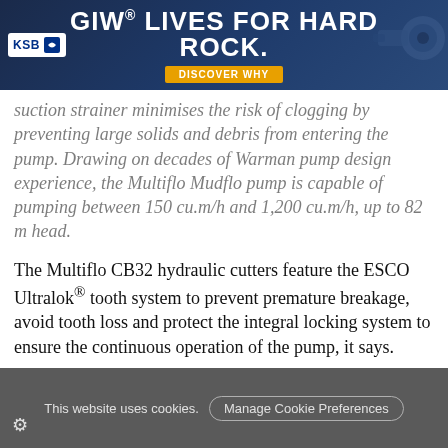[Figure (other): GIW advertisement banner: 'GIW® LIVES FOR HARD ROCK.' with DISCOVER WHY button and KSB logo]
suction strainer minimises the risk of clogging by preventing large solids and debris from entering the pump. Drawing on decades of Warman pump design experience, the Multiflo Mudflo pump is capable of pumping between 150 cu.m/h and 1,200 cu.m/h, up to 82 m head.
The Multiflo CB32 hydraulic cutters feature the ESCO Ultralok® tooth system to prevent premature breakage, avoid tooth loss and protect the integral locking system to ensure the continuous operation of the pump, it says.
Engineered by the Weir Minerals dewatering pump experts in Australia, it is available for global customers
This website uses cookies.  Manage Cookie Preferences